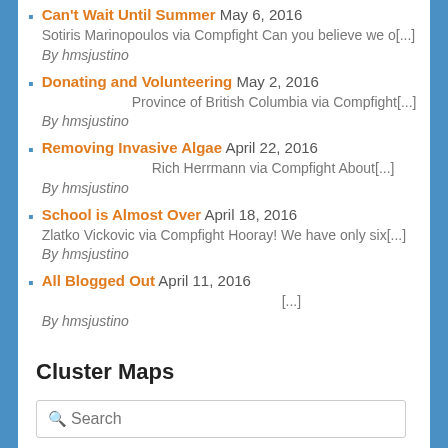Can't Wait Until Summer May 6, 2016
Sotiris Marinopoulos via Compfight Can you believe we o[...]
By hmsjustino
Donating and Volunteering May 2, 2016
Province of British Columbia via Compfight[...]
By hmsjustino
Removing Invasive Algae April 22, 2016
Rich Herrmann via Compfight About[...]
By hmsjustino
School is Almost Over April 18, 2016
Zlatko Vickovic via Compfight Hooray!  We have only six[...]
By hmsjustino
All Blogged Out April 11, 2016
[...]
By hmsjustino
Cluster Maps